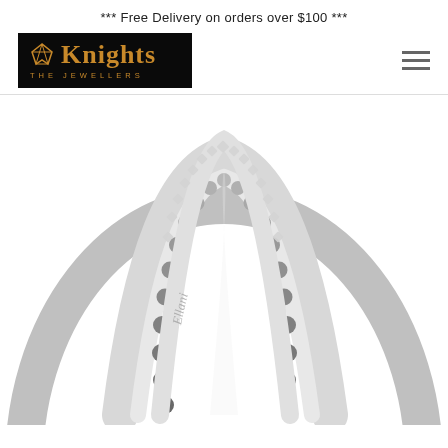*** Free Delivery on orders over $100 ***
[Figure (logo): Knights The Jewellers logo — gold text on black background with diamond icon]
[Figure (photo): Close-up product photo of a double-band silver/white gold ring — one band with beaded spherical accents and one band with pavé diamond setting, showing 'Ellani' engraving on the inside of the band]